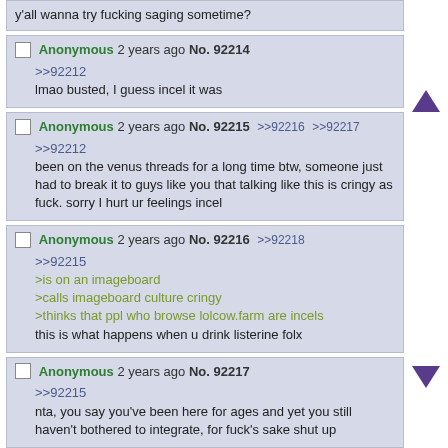y'all wanna try fucking saging sometime?
Anonymous 2 years ago No. 92214
>>92212
lmao busted, I guess incel it was
Anonymous 2 years ago No. 92215 >>92216 >>92217
>>92212
been on the venus threads for a long time btw, someone just had to break it to guys like you that talking like this is cringy as fuck. sorry I hurt ur feelings incel
Anonymous 2 years ago No. 92216 >>92218
>>92215
>is on an imageboard
>calls imageboard culture cringy
>thinks that ppl who browse lolcow.farm are incels
this is what happens when u drink listerine folx
Anonymous 2 years ago No. 92217
>>92215
nta, you say you've been here for ages and yet you still haven't bothered to integrate, for fuck's sake shut up
Anonymous 2 years ago No. 92218 >>92220